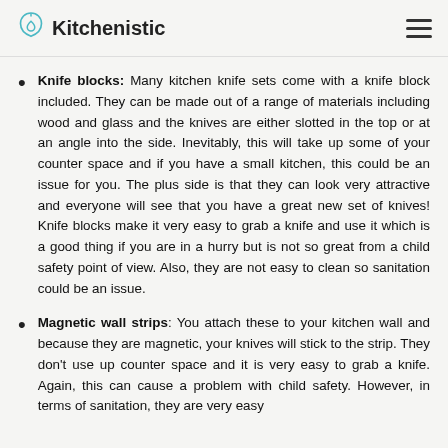Kitchenistic
Knife blocks: Many kitchen knife sets come with a knife block included. They can be made out of a range of materials including wood and glass and the knives are either slotted in the top or at an angle into the side. Inevitably, this will take up some of your counter space and if you have a small kitchen, this could be an issue for you. The plus side is that they can look very attractive and everyone will see that you have a great new set of knives! Knife blocks make it very easy to grab a knife and use it which is a good thing if you are in a hurry but is not so great from a child safety point of view. Also, they are not easy to clean so sanitation could be an issue.
Magnetic wall strips: You attach these to your kitchen wall and because they are magnetic, your knives will stick to the strip. They don't use up counter space and it is very easy to grab a knife. Again, this can cause a problem with child safety. However, in terms of sanitation, they are very easy